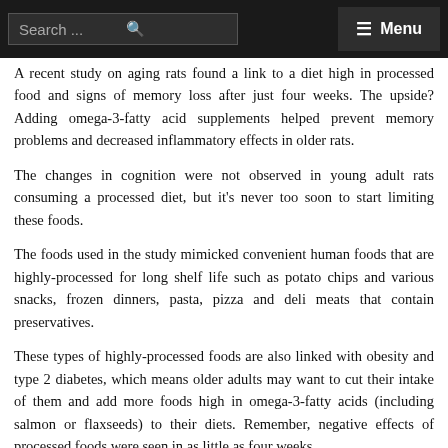Search ... ☰ Menu
A recent study on aging rats found a link to a diet high in processed food and signs of memory loss after just four weeks. The upside? Adding omega-3-fatty acid supplements helped prevent memory problems and decreased inflammatory effects in older rats.
The changes in cognition were not observed in young adult rats consuming a processed diet, but it's never too soon to start limiting these foods.
The foods used in the study mimicked convenient human foods that are highly-processed for long shelf life such as potato chips and various snacks, frozen dinners, pasta, pizza and deli meats that contain preservatives.
These types of highly-processed foods are also linked with obesity and type 2 diabetes, which means older adults may want to cut their intake of them and add more foods high in omega-3-fatty acids (including salmon or flaxseeds) to their diets. Remember, negative effects of processed foods were seen in as little as four weeks.